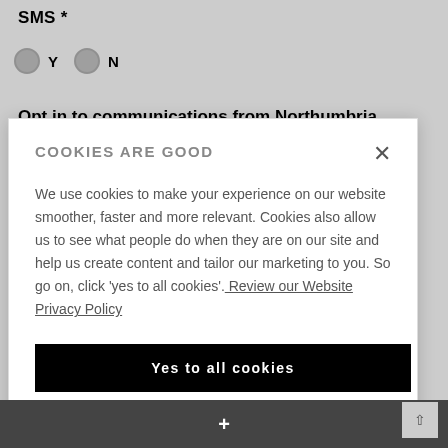SMS *
○ Y  ○ N
Opt in to communications from Northumbria University *
COOKIES ARE GOOD
We use cookies to make your experience on our website smoother, faster and more relevant. Cookies also allow us to see what people do when they are on our site and help us create content and tailor our marketing to you. So go on, click 'yes to all cookies'. Review our Website Privacy Policy
Yes to all cookies
Let me choose